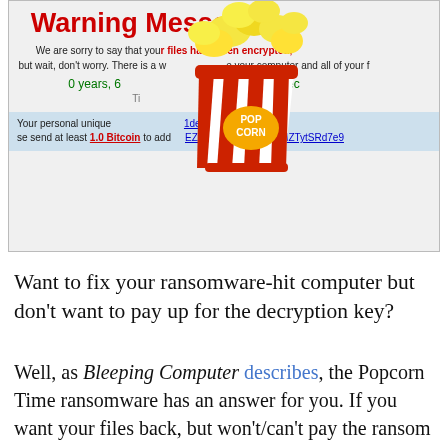[Figure (screenshot): Screenshot of Popcorn Time ransomware warning message with a popcorn bucket graphic overlaid. Shows 'Warning Message!!' in red, text about files being encrypted, a countdown timer showing '0 years, 6... and 58 sec', a personal unique key hash '1dec4a867fe60c78ffa5', and a request to send at least 1.0 Bitcoin to an address 'EZfPgvh6S9VEXWV2dZTytSRd7e9'.]
Want to fix your ransomware-hit computer but don't want to pay up for the decryption key?
Well, as Bleeping Computer describes, the Popcorn Time ransomware has an answer for you. If you want your files back, but won't/can't pay the ransom the ransomware's